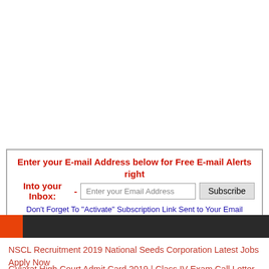Enter your E-mail Address below for Free E-mail Alerts right Into your Inbox: - [input] Subscribe
Don't Forget To "Activate" Subscription Link Sent to Your Email
[Figure (other): Dark header bar with orange square accent on left side]
NSCL Recruitment 2019 National Seeds Corporation Latest Jobs Apply Now
Gujarat High Court Admit Card 2019 | Class IV Exam Call Letter Download